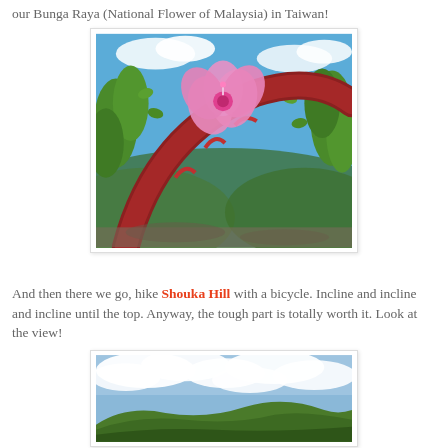our Bunga Raya (National Flower of Malaysia) in Taiwan!
[Figure (photo): A pink hibiscus flower (Bunga Raya) blooming in front of a red carved wooden arch structure, with green plants and a blue sky with clouds in the background, and green hills visible below.]
And then there we go, hike Shouka Hill with a bicycle. Incline and incline and incline until the top. Anyway, the tough part is totally worth it. Look at the view!
[Figure (photo): A panoramic view from Shouka Hill showing a wide sky with white clouds and green rolling hills/mountains in the distance below.]